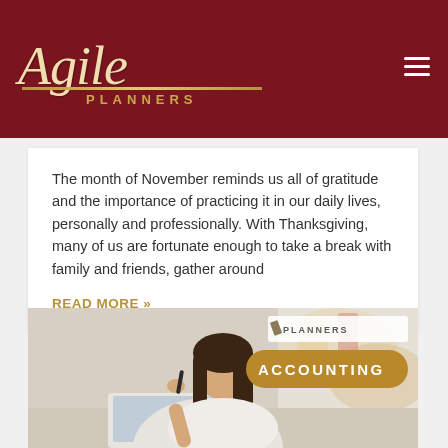[Figure (logo): Agile Planners logo in white/gold script on dark red background with hamburger menu icon]
The month of November reminds us all of gratitude and the importance of practicing it in our daily lives, personally and professionally. With Thanksgiving, many of us are fortunate enough to take a break with family and friends, gather around
READ MORE »
[Figure (photo): Woman in white top holding a pen to her chin, working at a desk with laptop, with Agile Planners logo badge and ACCOUNTING badge overlay in gold]